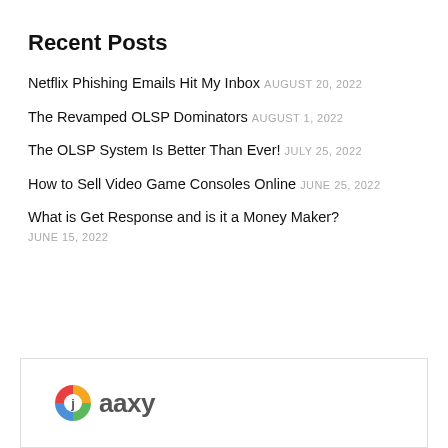Recent Posts
Netflix Phishing Emails Hit My Inbox AUGUST 20, 2022
The Revamped OLSP Dominators AUGUST 1, 2022
The OLSP System Is Better Than Ever! JULY 25, 2022
How to Sell Video Game Consoles Online JUNE 25, 2022
What is Get Response and is it a Money Maker? JUNE 15, 2022
[Figure (logo): Jaaxy logo with colorful pie-chart icon and the word 'jaaxy' in gray text]